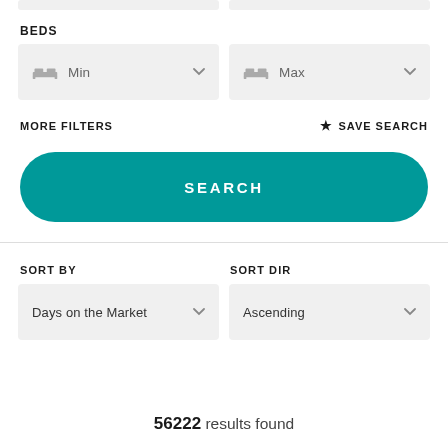BEDS
Min (dropdown)
Max (dropdown)
MORE FILTERS
★ SAVE SEARCH
SEARCH
SORT BY
SORT DIR
Days on the Market (dropdown)
Ascending (dropdown)
56222 results found